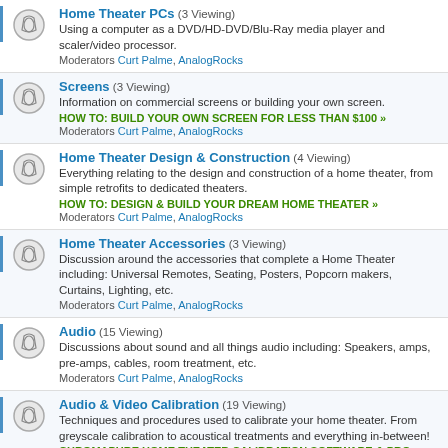Home Theater PCs (3 Viewing) — Using a computer as a DVD/HD-DVD/Blu-Ray media player and scaler/video processor. Moderators Curt Palme, AnalogRocks
Screens (3 Viewing) — Information on commercial screens or building your own screen. HOW TO: BUILD YOUR OWN SCREEN FOR LESS THAN $100 » Moderators Curt Palme, AnalogRocks
Home Theater Design & Construction (4 Viewing) — Everything relating to the design and construction of a home theater, from simple retrofits to dedicated theaters. HOW TO: DESIGN & BUILD YOUR DREAM HOME THEATER » Moderators Curt Palme, AnalogRocks
Home Theater Accessories (3 Viewing) — Discussion around the accessories that complete a Home Theater including: Universal Remotes, Seating, Posters, Popcorn makers, Curtains, Lighting, etc. Moderators Curt Palme, AnalogRocks
Audio (15 Viewing) — Discussions about sound and all things audio including: Speakers, amps, pre-amps, cables, room treatment, etc. Moderators Curt Palme, AnalogRocks
Audio & Video Calibration (19 Viewing) — Techniques and procedures used to calibrate your home theater. From greyscale calibration to acoustical treatments and everything in-between! CHROMAPURE HOME THEATER CALIBRATION SOFTWARE & PRO METERS » GUIDE: GRAYSCALE & COLOR CALIBRATION FOR DUMMIES » FAQ: WHICH METER IS RIGHT FOR ME? » Moderators kal, Curt Palme, AnalogRocks
Classic Electronics (1 Viewing) — Showcase your old, unusual, or just downright weird electronic finds! Moderators Curt Palme, AnalogRocks
Movie & Media Talk (10 Viewing)